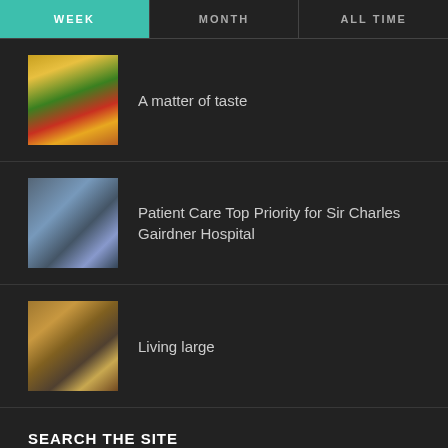WEEK | MONTH | ALL TIME
A matter of taste
Patient Care Top Priority for Sir Charles Gairdner Hospital
Living large
SEARCH THE SITE
Search...